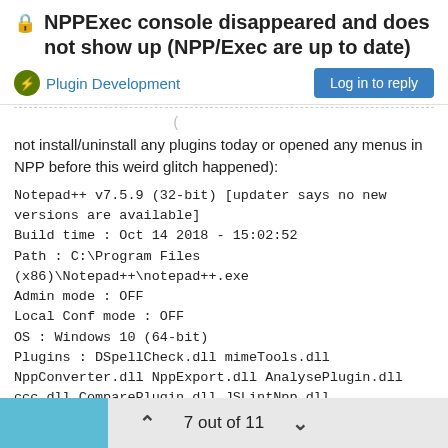🔒 NPPExec console disappeared and does not show up (NPP/Exec are up to date)
Plugin Development
not install/uninstall any plugins today or opened any menus in NPP before this weird glitch happened):
Notepad++ v7.5.9 (32-bit) [updater says no new versions are available]
Build time : Oct 14 2018 - 15:02:52
Path : C:\Program Files (x86)\Notepad++\notepad++.exe
Admin mode : OFF
Local Conf mode : OFF
OS : Windows 10 (64-bit)
Plugins : DSpellCheck.dll mimeTools.dll NppConverter.dll NppExport.dll AnalysePlugin.dll ccc.dll ComparePlugin.dll JSLintNpp.dll JSMinNPP.dll NppBplistPlugin.dll nppcrypt.dll NppExec.dll NppFTP.dll NPPJSONViewer-win32.dll NppScripts.dll NppTextFX.dll PluginManager.dll Pork2Sausage.dll regrexplace.dll SpellChecker.dll TagsJump.dll
7 out of 11